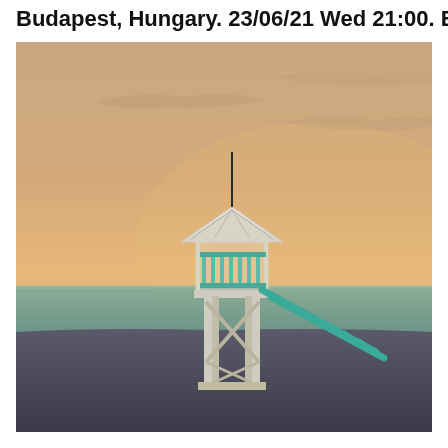Budapest, Hungary. 23/06/21 Wed 21:00. Buy
[Figure (photo): A beach lifeguard tower (white wooden structure with a teal/cyan ramp/ladder) standing alone on a sandy beach at sunset/dusk. The sky has warm orange-pink hues with faint clouds. The calm sea/lake extends to the horizon behind the tower. The foreground sand is dark. The image has a muted, vintage tonal quality.]